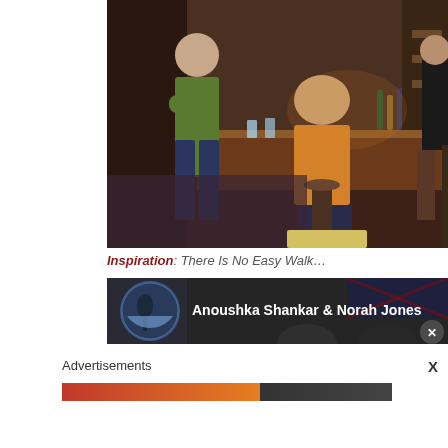[Figure (photo): Interior of a bar/pub scene. A man in a green shirt stands with arms crossed on the left. Another person in an orange/yellow shirt sits at the bar counter. Dark wood bar counter with bottles and bar equipment visible. Other patrons and bar stools visible in background.]
Inspiration: There Is No Easy Walk...
[Figure (screenshot): Video thumbnail or music player showing 'Anoushka Shankar & Norah Jones' with a circular album art thumbnail on the left and artist names in white text on dark background.]
Advertisements
[Figure (screenshot): Advertisement bar with orange/red gradient and dark section on the right, with an X close button.]